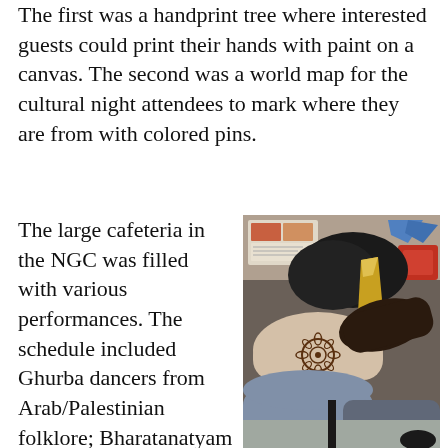The first was a handprint tree where interested guests could print their hands with paint on a canvas. The second was a world map for the cultural night attendees to mark where they are from with colored pins.
The large cafeteria in the NGC was filled with various performances. The schedule included Ghurba dancers from Arab/Palestinian folklore; Bharatanatyam dancers from
[Figure (photo): A close-up photo showing someone applying henna to another person's wrist/hand. The henna artist is using a cone to draw a floral mandala design on the inner wrist. There are papers and items visible on a table in the background.]